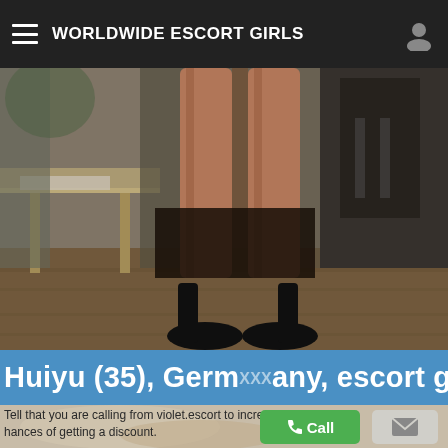WORLDWIDE ESCORT GIRLS
[Figure (photo): Close-up photograph of a woman's legs in black high heels and dark stockings, standing in a room with a wooden table and blurred background.]
Huiyu (35), Germany, escort girl
Tell that you are calling from violet.escort to increase your chances of getting a discount.